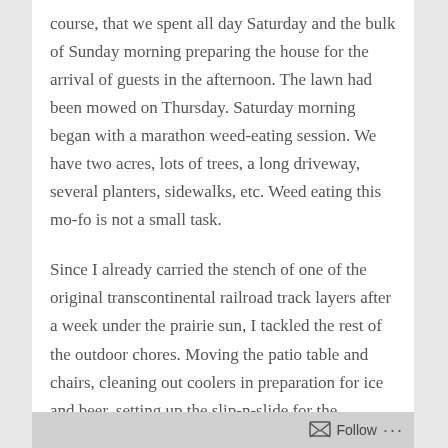course, that we spent all day Saturday and the bulk of Sunday morning preparing the house for the arrival of guests in the afternoon.  The lawn had been mowed on Thursday.  Saturday morning began with a marathon weed-eating session.  We have two acres, lots of trees, a long driveway, several planters, sidewalks, etc.  Weed eating this mo-fo is not a small task.
Since I already carried the stench of one of the original transcontinental railroad track layers after a week under the prairie sun, I tackled the rest of the outdoor chores.  Moving the patio table and chairs, cleaning out coolers in preparation for ice and beer, setting up the slip-n-slide for the younguns, blowing off the deck and
Follow